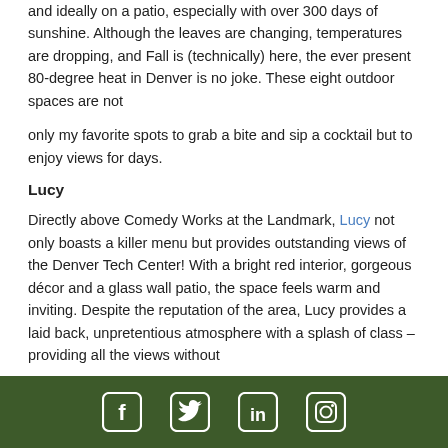and ideally on a patio, especially with over 300 days of sunshine. Although the leaves are changing, temperatures are dropping, and Fall is (technically) here, the ever present 80-degree heat in Denver is no joke. These eight outdoor spaces are not
only my favorite spots to grab a bite and sip a cocktail but to enjoy views for days.
Lucy
Directly above Comedy Works at the Landmark, Lucy not only boasts a killer menu but provides outstanding views of the Denver Tech Center! With a bright red interior, gorgeous décor and a glass wall patio, the space feels warm and inviting. Despite the reputation of the area, Lucy provides a laid back, unpretentious atmosphere with a splash of class – providing all the views without
Social media icons: Facebook, Twitter, LinkedIn, Instagram